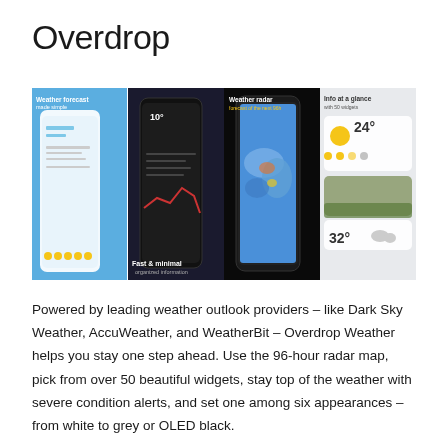Overdrop
[Figure (screenshot): Four smartphone screenshots of the Overdrop weather app showing: (1) Weather forecast made simple with a blue gradient background and phone showing weather UI with yellow circles; (2) Fast & minimal organized information with a dark phone showing weather data and graphs; (3) Weather radar forecast of the next 96h with a phone showing a map radar view on black background; (4) Info at a glance with 50 widgets showing weather widgets and cards with temperature 24 degrees and 32 degrees on grey background.]
Powered by leading weather outlook providers – like Dark Sky Weather, AccuWeather, and WeatherBit – Overdrop Weather helps you stay one step ahead. Use the 96-hour radar map, pick from over 50 beautiful widgets, stay top of the weather with severe condition alerts, and set one among six appearances – from white to grey or OLED black.